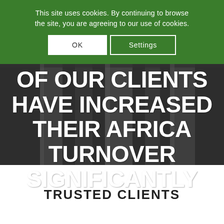This site uses cookies. By continuing to browse the site, you are agreeing to our use of cookies.
OK | Settings
[Figure (photo): Industrial pipes and equipment with dark overlay, showing text overlay: OF OUR CLIENTS HAVE INCREASED THEIR AFRICA TURNOVER SIGNIFICANTLY]
TRUSTED CLIENTS